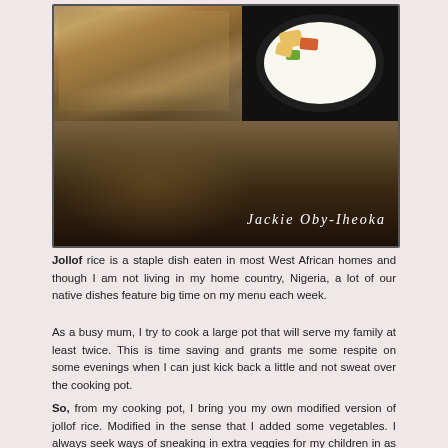[Figure (photo): A collage of food photos showing jollof rice dishes. Top left: a close-up of fried/jollof rice on a white background. Top right: a dark plate with food on a black background. Bottom: a dark blurred food image with the cursive signature 'Jackie Oby-Iheoka' in white text.]
Jollof rice is a staple dish eaten in most West African homes and though I am not living in my home country, Nigeria, a lot of our native dishes feature big time on my menu each week.
As a busy mum, I try to cook a large pot that will serve my family at least twice. This is time saving and grants me some respite on some evenings when I can just kick back a little and not sweat over the cooking pot.
So, from my cooking pot, I bring you my own modified version of jollof rice. Modified in the sense that I added some vegetables. I always seek ways of sneaking in extra veggies for my children in as much as my younger son finds time to pick the peas, he still gets to eat a good portion.